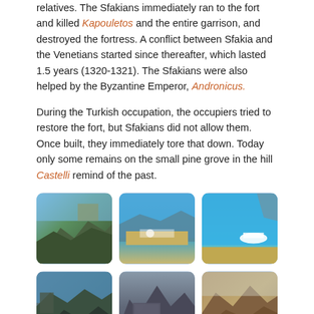relatives. The Sfakians immediately ran to the fort and killed Kapouletos and the entire garrison, and destroyed the fortress. A conflict between Sfakia and the Venetians started since thereafter, which lasted 1.5 years (1320-1321). The Sfakians were also helped by the Byzantine Emperor, Andronicus.
During the Turkish occupation, the occupiers tried to restore the fort, but Sfakians did not allow them. Once built, they immediately tore that down. Today only some remains on the small pine grove in the hill Castelli remind of the past.
[Figure (photo): Six photographs arranged in a 3x2 grid showing rocky coastal landscapes, a harbor with boats, blue sea with a white boat, and ancient stone ruins, related to the Castelli hill area in Sfakia, Crete.]